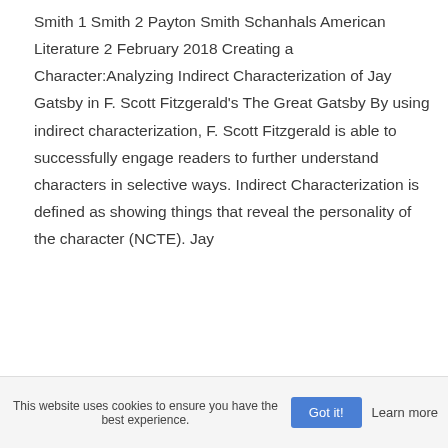Smith 1 Smith 2 Payton Smith Schanhals American Literature 2 February 2018 Creating a Character:Analyzing Indirect Characterization of Jay Gatsby in F. Scott Fitzgerald's The Great Gatsby By using indirect characterization, F. Scott Fitzgerald is able to successfully engage readers to further understand characters in selective ways. Indirect Characterization is defined as showing things that reveal the personality of the character (NCTE). Jay
The reading of the Great Gatsby - literature -
This website uses cookies to ensure you have the best experience.